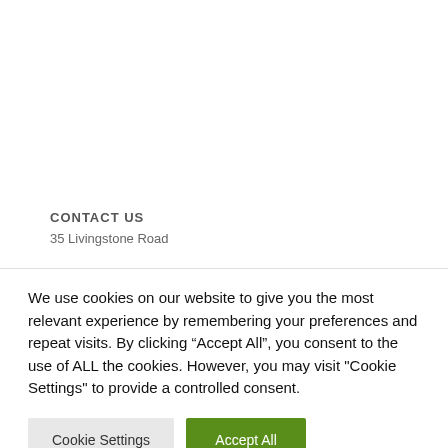CONTACT US
35 Livingstone Road
We use cookies on our website to give you the most relevant experience by remembering your preferences and repeat visits. By clicking “Accept All”, you consent to the use of ALL the cookies. However, you may visit "Cookie Settings" to provide a controlled consent.
Cookie Settings | Accept All